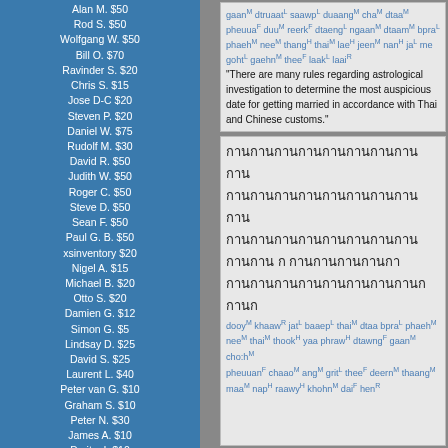Alan M. $50
Rod S. $50
Wolfgang W. $50
Bill O. $70
Ravinder S. $20
Chris S. $15
Jose D-C $20
Steven P. $20
Daniel W. $75
Rudolf M. $30
David R. $50
Judith W. $50
Roger C. $50
Steve D. $50
Sean F. $50
Paul G. B. $50
xsinventory $20
Nigel A. $15
Michael B. $20
Otto S. $20
Damien G. $12
Simon G. $5
Lindsay D. $25
David S. $25
Laurent L. $40
Peter van G. $10
Graham S. $10
Peter N. $30
James A. $10
Dmitry I. $10
Edward R. $50
Roderick S. $30
Mason S. $5
Henning E. $20
John F. $20
Daniel F. $10
Armand H. $20
Daniel S. $20
James McD. $20
Shane McC. $10
Roberto D. $50
gaan^M dtruaat^L saawp^L duaang^M cha^... dtaa^M pheuua^F duu^M reerk^F dtaeng^L ngaan^M dtaam^M bpra^L phaeh^M nee^M thang^H thai^M lae^H jeen^M nan^H ja^L me... goht^L gaehn^M thee^F laak^L laai^R
"There are many rules regarding astrological investigation to determine the most auspicious date for getting married in accordance with Thai and Chinese customs."
Thai script block (Unicode Thai characters)
dooy^M khaaw^R jat^L baaep^L thai^M dtaa... bpra^L phaeh^M nee^M thai^M thook^H yaa... phraw^H dtawng^F gaan^M cho:h^M pheuuan^F chaao^M ang^M grit^L thee^F deern^M thaang^M maa^M nap^H raawy^H khohn^M dai^F hen^R